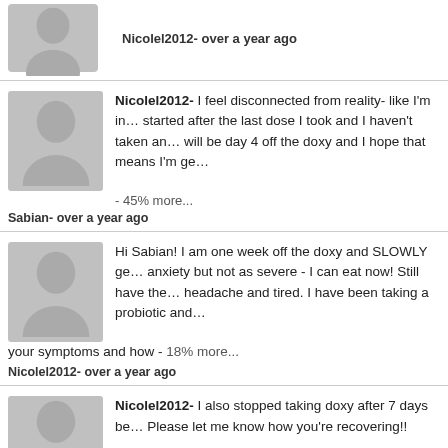Nicolel2012- over a year ago
Nicolel2012- I feel disconnected from reality- like I'm in... started after the last dose I took and I haven't taken an... will be day 4 off the doxy and I hope that means I'm ge... - 45% more...
Sabian- over a year ago
Hi Sabian! I am one week off the doxy and SLOWLY ge... anxiety but not as severe - I can eat now! Still have the... headache and tired. I have been taking a probiotic and... your symptoms and how - 18% more...
Nicolel2012- over a year ago
Nicolel2012- I also stopped taking doxy after 7 days be... Please let me know how you're recovering!!
Sabian- over a year ago
I am so so so happy I found this thread - I have been o...